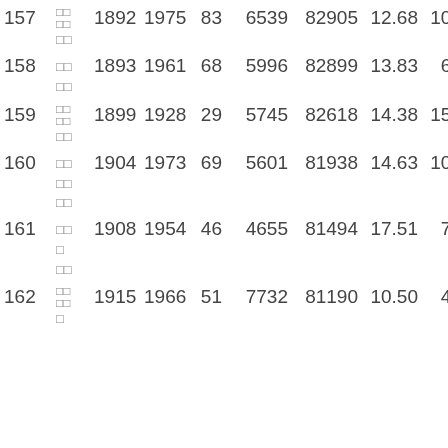| ID |  | Year1 | Year2 | Diff | V1 | V2 | V3 | V4 |
| --- | --- | --- | --- | --- | --- | --- | --- | --- |
| 157 | □□/□□ | 1892 | 1975 | 83 | 6539 | 82905 | 12.68 | 100 |
| 158 | □□/□□ | 1893 | 1961 | 68 | 5996 | 82899 | 13.83 | 61 |
| 159 | □□/□□ | 1899 | 1928 | 29 | 5745 | 82618 | 14.38 | 151 |
| 160 | □□/□□ | 1904 | 1973 | 69 | 5601 | 81938 | 14.63 | 106 |
| 161 | □□/□□ | 1908 | 1954 | 46 | 4655 | 81494 | 17.51 | 79 |
| 162 | □□/□□ | 1915 | 1966 | 51 | 7732 | 81190 | 10.50 | 41 |